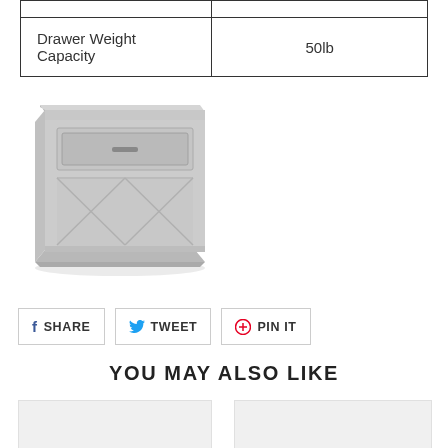|  |  |
| --- | --- |
|  |  |
| Drawer Weight Capacity | 50lb |
[Figure (photo): Gray farmhouse-style nightstand with one drawer and open shelf below, shown in perspective view]
SHARE  TWEET  PIN IT
YOU MAY ALSO LIKE
[Figure (photo): Product image placeholder (left)]
[Figure (photo): Product image placeholder (right)]